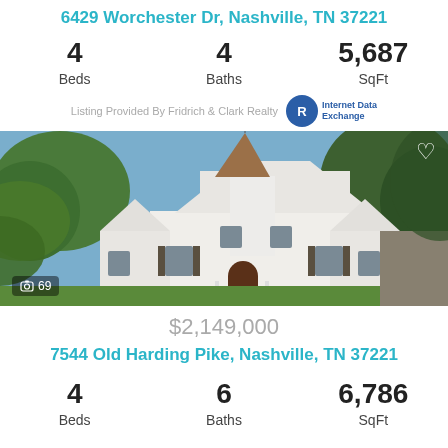6429 Worchester Dr, Nashville, TN 37221
4 Beds   4 Baths   5,687 SqFt
Listing Provided By Fridrich & Clark Realty
[Figure (photo): Exterior photo of a large white house with a pointed tower, brown shingle conical roof, arched wooden front door, and surrounded by green trees. Shows 69 photos indicator.]
$2,149,000
7544 Old Harding Pike, Nashville, TN 37221
4 Beds   6 Baths   6,786 SqFt